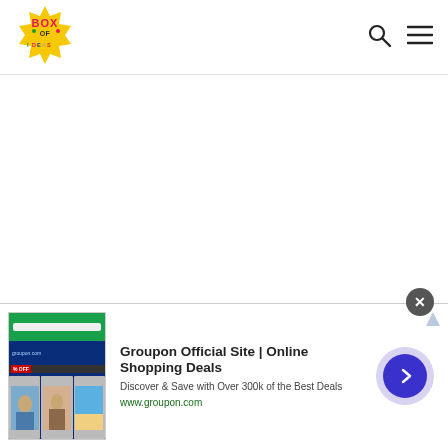[Figure (logo): Box of Ideas logo — colorful star-burst shape with 'BOX OF IDEAS' text in bright colors]
[Figure (infographic): Search icon (magnifying glass) and hamburger menu icon in the navigation header]
[Figure (screenshot): Groupon advertisement banner at bottom of page showing: close button (X), Groupon website screenshot thumbnail, 'Groupon Official Site | Online Shopping Deals' headline, 'Discover & Save with Over 300k of the Best Deals' description, 'www.groupon.com' URL, and a blue circular arrow button on the right]